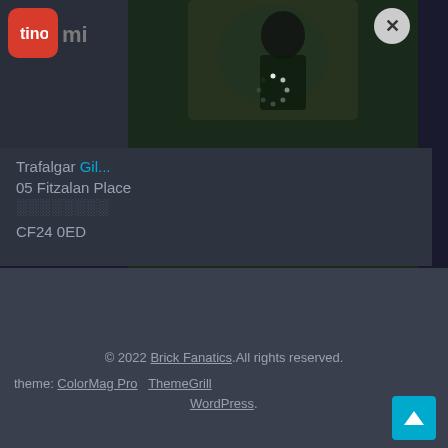[Figure (screenshot): Video overlay showing Avatar movie news: 'AVATAR HAS BEEN REMOVED FROM DISNEY+ AHEAD OF ITS RE-RELEASE' with a close button (X) in top right]
Trafalgar [highlight: Gil...]
05 Fitzalan Place
[dots]

CF24 0ED
© 2022 Brick Fanatics.All rights reserved.
theme: ColorMag Pro ThemeGrill
WordPress.